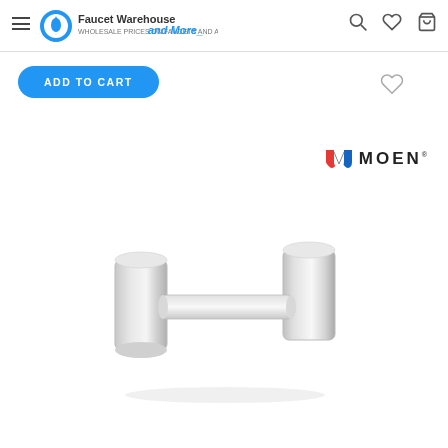Faucet Warehouse and More
ADD TO CART
[Figure (logo): Moen brand logo with shield icon in red and blue, followed by MOEN text in bold dark letters]
[Figure (photo): Chrome toilet paper holder with two square post arms and a horizontal bar, MOEN product, polished chrome finish, photographed on white background]